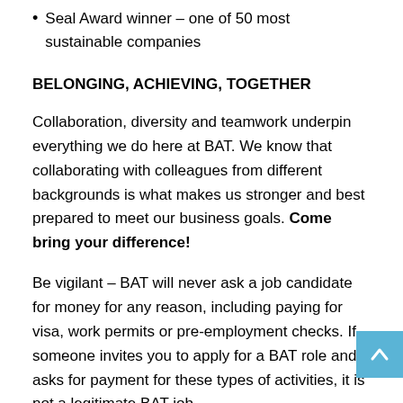Seal Award winner – one of 50 most sustainable companies
BELONGING, ACHIEVING, TOGETHER
Collaboration, diversity and teamwork underpin everything we do here at BAT. We know that collaborating with colleagues from different backgrounds is what makes us stronger and best prepared to meet our business goals. Come bring your difference!
Be vigilant – BAT will never ask a job candidate for money for any reason, including paying for visa, work permits or pre-employment checks. If someone invites you to apply for a BAT role and asks for payment for these types of activities, it is not a legitimate BAT job.
How to Apply for this Career